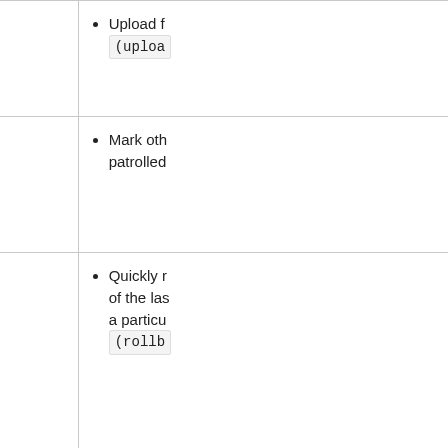| Permission | Allows user to |
| --- | --- |
| Upload files
(upload) | Upload files (upload) |
| Patrol changes to pages
(patrol) | Mark other users' edits as patrolled |
| Rollback changes to pages
(rollback) | Quickly revert the edits of the last editor of a particular page (rollback) |
| Block and unblock users
(blockusers) | Block a user from sending email (...)
Block other users from editing (...) |
| View deleted files and pages
(viewdeleted) | Search deleted pages (browsearchive)
View deleted revision entries, view content associated with deleted (deletedtext) |